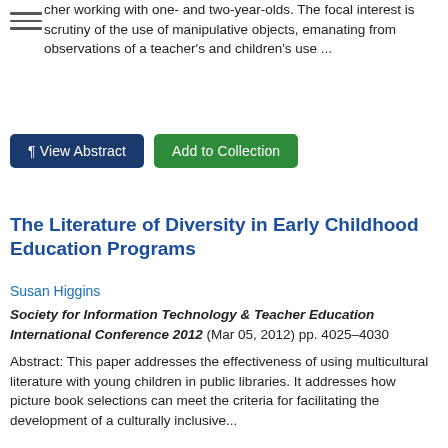cher working with one- and two-year-olds. The focal interest is scrutiny of the use of manipulative objects, emanating from observations of a teacher's and children's use ...
¶ View Abstract | Add to Collection
The Literature of Diversity in Early Childhood Education Programs
Susan Higgins
Society for Information Technology & Teacher Education International Conference 2012 (Mar 05, 2012) pp. 4025–4030
Abstract: This paper addresses the effectiveness of using multicultural literature with young children in public libraries. It addresses how picture book selections can meet the criteria for facilitating the development of a culturally inclusive...
¶ View Abstract | Download Full Text | Add to Collection
Factors influencing digital technology use in early childhood education